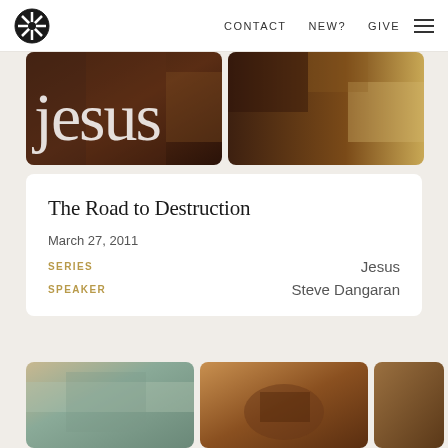CONTACT  NEW?  GIVE
[Figure (photo): Close-up stylized photo mosaic showing the word 'Jesus' in large letters over a dark brown background, split into two panels]
The Road to Destruction
March 27, 2011
SERIES   Jesus
SPEAKER   Steve Dangaran
[Figure (photo): Grid of close-up detail photos from a painting of Jesus — showing fabric/robe detail, face/nose area, eye area, and beard/chin area]